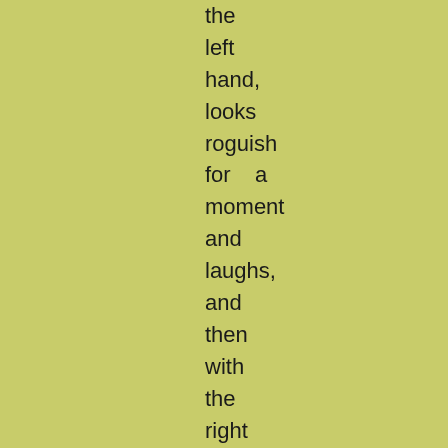the
left
hand,
looks
roguish
for    a
moment
and
laughs,
and
then
with
the
right
hand
strikes
the
left,  as
if    to